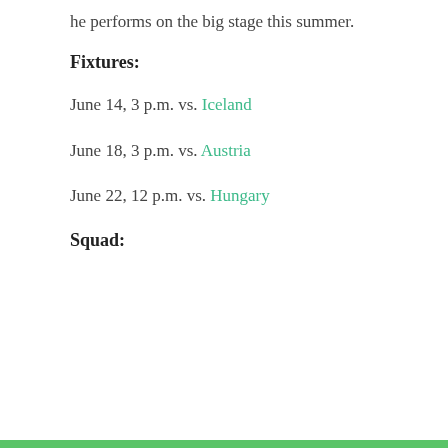he performs on the big stage this summer.
Fixtures:
June 14, 3 p.m. vs. Iceland
June 18, 3 p.m. vs. Austria
June 22, 12 p.m. vs. Hungary
Squad:
Privacy & Cookies: This site uses cookies. By continuing to use this website, you agree to their use. To find out more, including how to control cookies, see here: Cookie Policy Close and accept